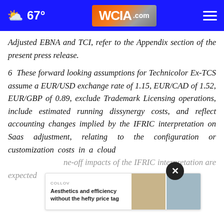67° WCIA.com
Adjusted EBNA and TCI, refer to the Appendix section of the present press release.
6 These forward looking assumptions for Technicolor Ex-TCS assume a EUR/USD exchange rate of 1.15, EUR/CAD of 1.52, EUR/GBP of 0.89, exclude Trademark Licensing operations, include estimated running dissynergy costs, and reflect accounting changes implied by the IFRIC interpretation on Saas adjustment, relating to the configuration or customization costs in a cloud one-off impacts of the IFRIC interpretation are expected